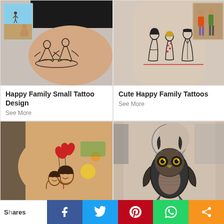[Figure (photo): Tattoo of two women sitting on a mat on person's side/rib area, with small beach photo inset top-left]
Happy Family Small Tattoo Design
See More
[Figure (photo): Tattoo of a family group (three figures) on person's leg/calf, with small family photo inset top-right]
Cute Happy Family Tattoos
See More
[Figure (photo): Tattoo of two cartoon children with heart balloons on person's wrist/hand]
[Figure (photo): Large detailed owl tattoo on person's upper back/neck area]
Shares
[Figure (infographic): Social share bar with Facebook, Twitter, Pinterest, WhatsApp, and Share buttons]